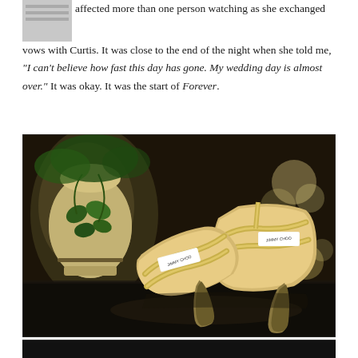tears affected more than one person watching as she exchanged vows with Curtis. It was close to the end of the night when she told me, "I can't believe how fast this day has gone. My wedding day is almost over." It was okay. It was the start of Forever.
[Figure (photo): Close-up photograph of a pair of glittery gold/silver Jimmy Choo strappy heeled sandals placed on a dark reflective surface, with a decorative vase with ivy in the background and soft bokeh lights.]